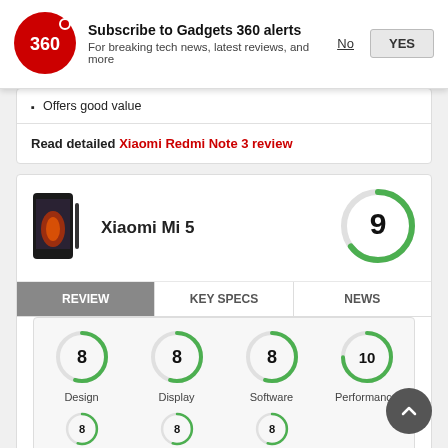[Figure (logo): Gadgets 360 logo — red circle with '360' text in white]
Subscribe to Gadgets 360 alerts
For breaking tech news, latest reviews, and more
Offers good value
Read detailed Xiaomi Redmi Note 3 review
[Figure (photo): Xiaomi Mi 5 smartphone product image]
Xiaomi Mi 5
[Figure (other): Score circle showing 9 out of 10]
[Figure (other): Score circle showing 8 — Design]
[Figure (other): Score circle showing 8 — Display]
[Figure (other): Score circle showing 8 — Software]
[Figure (other): Score circle showing 10 — Performance]